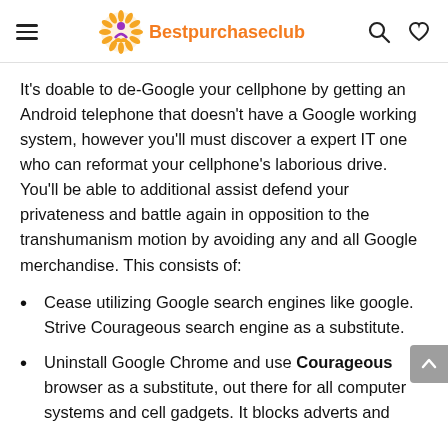Bestpurchaseclub
It’s doable to de-Google your cellphone by getting an Android telephone that doesn’t have a Google working system, however you’ll must discover a expert IT one who can reformat your cellphone’s laborious drive. You’ll be able to additional assist defend your privateness and battle again in opposition to the transhumanism motion by avoiding any and all Google merchandise. This consists of:
Cease utilizing Google search engines like google. Strive Courageous search engine as a substitute.
Uninstall Google Chrome and use Courageous browser as a substitute, out there for all computer systems and cell gadgets. It blocks adverts and